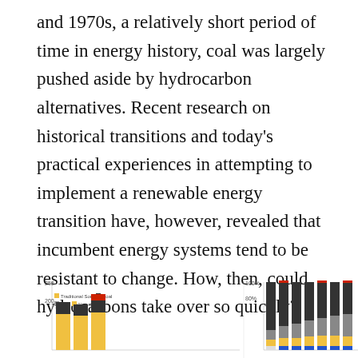and 1970s, a relatively short period of time in energy history, coal was largely pushed aside by hydrocarbon alternatives. Recent research on historical transitions and today's practical experiences in attempting to implement a renewable energy transition have, however, revealed that incumbent energy systems tend to be resistant to change. How, then, could hydrocarbons take over so quickly?
[Figure (stacked-bar-chart): Partially visible stacked bar charts at the bottom of the page showing energy data with legend items: Traditional Sources, Coal, Oil, Natural Gas. Two chart panels visible — left with y-axis up to 250 and 200 visible, right with y-axis up to 100% and 80% visible.]